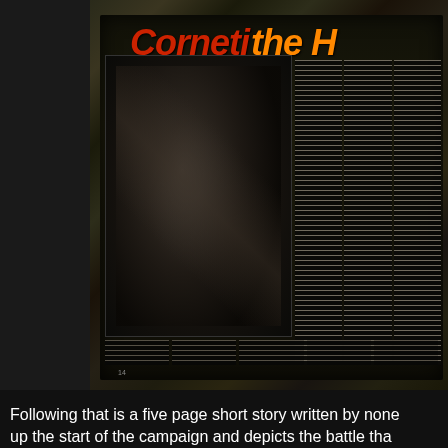[Figure (photo): Photograph of an open magazine spread showing a Warhammer 40K or similar sci-fi/fantasy publication. The magazine shows a double-page spread with a large illustration of armored figures/warriors on the left page, and text columns on both pages. The title visible reads 'Corneti' and 'the H' in large red/orange italic text. Page number 14 is visible at bottom left of the spread. The magazine is photographed on what appears to be a textured brown/orange surface.]
Following that is a five page short story written by none... up the start of the campaign and depicts the battle tha... Hades Hive. We get some great moments with Comm...